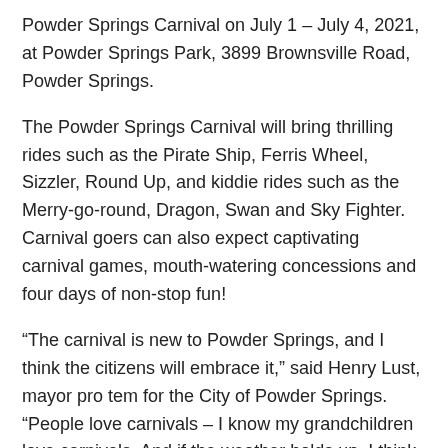Powder Springs Carnival on July 1 – July 4, 2021, at Powder Springs Park, 3899 Brownsville Road, Powder Springs.
The Powder Springs Carnival will bring thrilling rides such as the Pirate Ship, Ferris Wheel, Sizzler, Round Up, and kiddie rides such as the Merry-go-round, Dragon, Swan and Sky Fighter. Carnival goers can also expect captivating carnival games, mouth-watering concessions and four days of non-stop fun!
“The carnival is new to Powder Springs, and I think the citizens will embrace it,” said Henry Lust, mayor pro tem for the City of Powder Springs. “People love carnivals – I know my grandchildren love carnivals. And if the weather holds up, I think it will be a success.”
The carnival will operate on Thursday and Friday, July 1 & 2, from 5 to 10 p.m.; and Saturday and Sunday, July 3 & 4, from 2 to 11 p.m. Admission is free, but you must purchase tickets at the park for the rides and the games